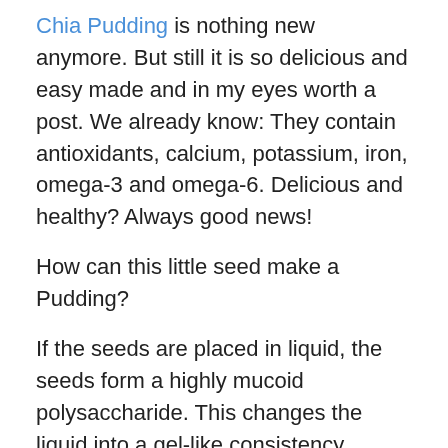Chia Pudding is nothing new anymore. But still it is so delicious and easy made and in my eyes worth a post. We already know: They contain antioxidants, calcium, potassium, iron, omega-3 and omega-6. Delicious and healthy? Always good news!
How can this little seed make a Pudding?
If the seeds are placed in liquid, the seeds form a highly mucoid polysaccharide. This changes the liquid into a gel-like consistency.
If you are on a gluten free diet, this seed can make creams and sauces thick and can sometimes replace flour. Just grind it before using.